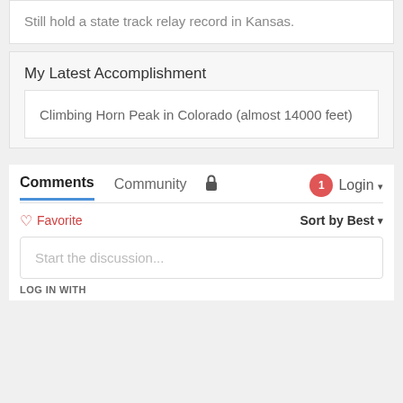Still hold a state track relay record in Kansas.
My Latest Accomplishment
Climbing Horn Peak in Colorado (almost 14000 feet)
Comments  Community  🔒  1  Login ▾
♡ Favorite   Sort by Best ▾
Start the discussion...
LOG IN WITH